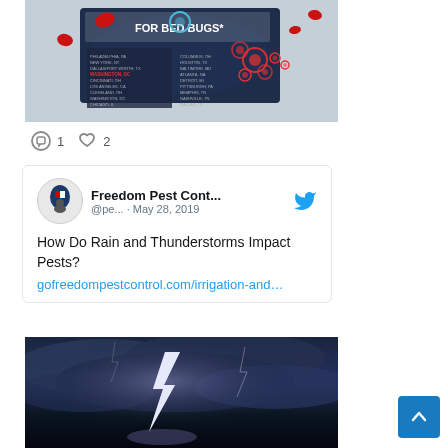[Figure (infographic): Infographic about Top Cities for Bed Bugs with a map of the United States showing bed bug hotspots with red markers and a list of cities on the left side.]
1  2
[Figure (screenshot): Tweet from Freedom Pest Cont... @pe... · May 28, 2019 with Twitter bird icon. Text: How Do Rain and Thunderstorms Impact Pests? gofreedompestcontrol.com/irrigation-and…]
[Figure (photo): Photo of a dramatic thunderstorm with lightning bolt striking against dark blue cloudy sky.]